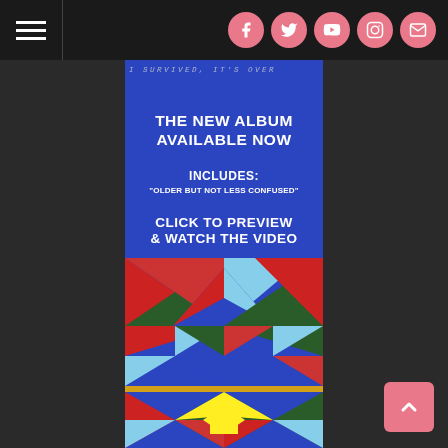[Figure (screenshot): Website navigation bar with hamburger menu icon on the left and five social media icons (Facebook, Twitter, YouTube, Instagram, Email) on the right against dark background]
[Figure (illustration): Album promotional banner on blue background with handwritten text 'I SURVIVED, IT'S OVER' at top, promotional text 'THE NEW ALBUM AVAILABLE NOW INCLUDES: OLDER BUT NOT LESS CONFUSED CLICK TO PREVIEW & WATCH THE VIDEO', and geometric quilt-pattern artwork at the bottom in red, green, blue, yellow, and white]
[Figure (other): Pink back-to-top button with upward chevron arrow in bottom right corner]